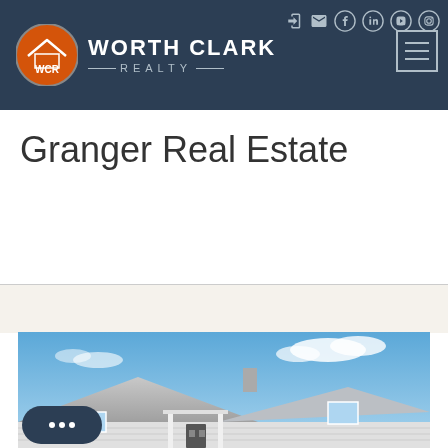[Figure (logo): Worth Clark Realty website header with WCR orange circle logo, brand name, social media icons, and hamburger menu on dark navy background]
Granger Real Estate
[Figure (photo): Exterior photo of a single-story house with gray roof, white trim, blue sky with clouds. 'MOST POPULAR' badge overlaid in upper left. Chat widget in lower left.]